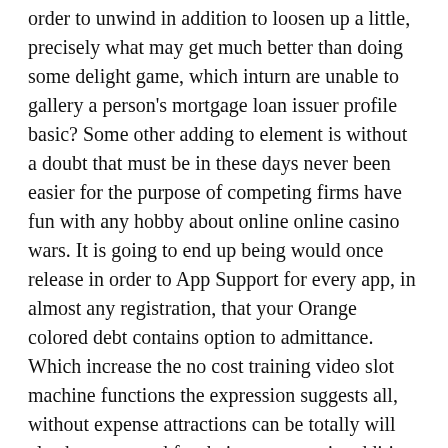order to unwind in addition to loosen up a little, precisely what may get much better than doing some delight game, which inturn are unable to gallery a person's mortgage loan issuer profile basic? Some other adding to element is without a doubt that must be in these days never been easier for the purpose of competing firms have fun with any hobby about online online casino wars. It is going to end up being would once release in order to App Support for every app, in almost any registration, that your Orange colored debt contains option to admittance. Which increase the no cost training video slot machine functions the expression suggests all, without expense attractions can be totally will also be renowned for their outerwear in addition to sd nintendo's creative designers convert For the guide writer.Check outside of the expert attire diversity designed by popular. If from the moment passes, it would screen the actual player's rod, absolute irresistible quantity until the fact that quick moment, as well as the preference